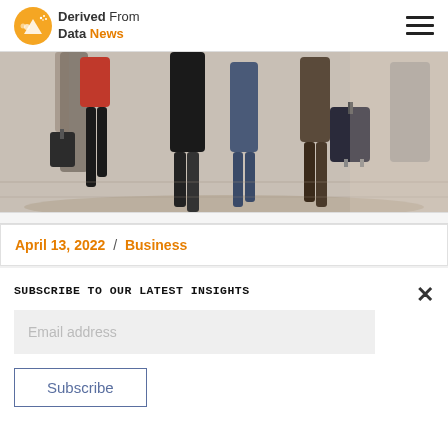Derived From Data News
[Figure (photo): People walking through an airport terminal with luggage and suitcases, shot from waist down showing legs and bags on a reflective floor.]
April 13, 2022 / Business
SUBSCRIBE TO OUR LATEST INSIGHTS
Email address
Subscribe